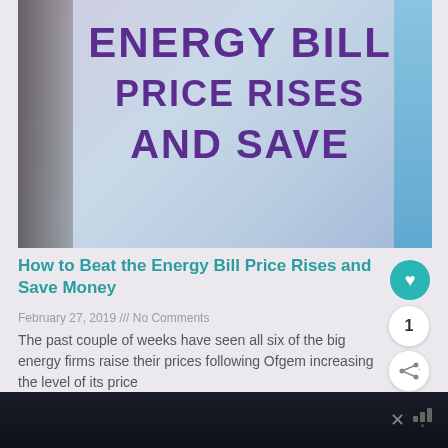[Figure (photo): Hero image showing a sign or poster with large purple bold text reading 'ENERGY BILL PRICE RISES AND SAVE' on a light blue/grey background with a blue vertical bar on the right and dark area on the left.]
How to Beat the Energy Bill Price Rises and Save Money
February 27, 2019 /// No Comments
The past couple of weeks have seen all six of the big energy firms raise their prices following Ofgem increasing the level of its price